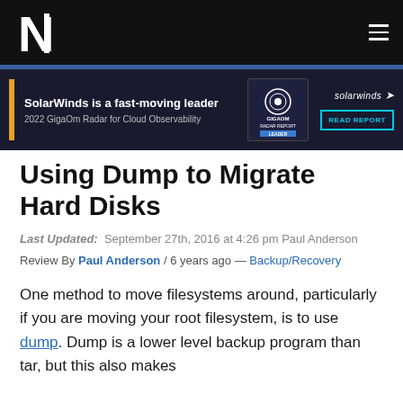N1 (logo) — navigation header
[Figure (infographic): SolarWinds advertisement banner: 'SolarWinds is a fast-moving leader — 2022 GigaOm Radar for Cloud Observability' with GigaOm Radar Report badge and READ REPORT button]
Using Dump to Migrate Hard Disks
Last Updated: September 27th, 2016 at 4:26 pm Paul Anderson
Review By Paul Anderson / 6 years ago — Backup/Recovery
One method to move filesystems around, particularly if you are moving your root filesystem, is to use dump. Dump is a lower level backup program than tar, but this also makes